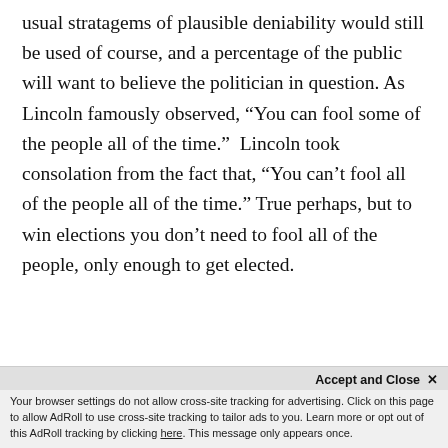usual stratagems of plausible deniability would still be used of course, and a percentage of the public will want to believe the politician in question. As Lincoln famously observed, “You can fool some of the people all of the time.”  Lincoln took consolation from the fact that, “You can’t fool all of the people all of the time.” True perhaps, but to win elections you don’t need to fool all of the people, only enough to get elected.
So by having the mass media dis...
totalitarian regime will not only survive...
Accept and Close × Your browser settings do not allow cross-site tracking for advertising. Click on this page to allow AdRoll to use cross-site tracking to tailor ads to you. Learn more or opt out of this AdRoll tracking by clicking here. This message only appears once.